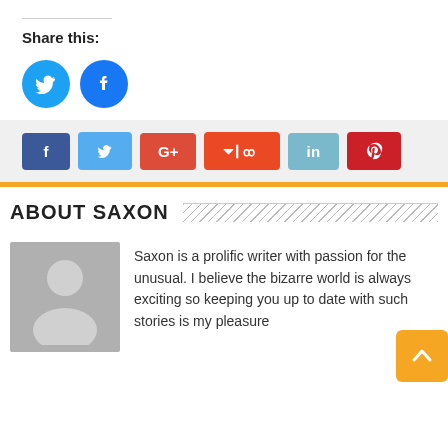Share this:
[Figure (infographic): Twitter and Facebook circular share buttons]
[Figure (infographic): Social share bar with f, Twitter, G+, StumbleUpon, in, Pinterest buttons]
ABOUT SAXON
[Figure (illustration): Gray placeholder avatar silhouette]
Saxon is a prolific writer with passion for the unusual. I believe the bizarre world is always exciting so keeping you up to date with such stories is my pleasure